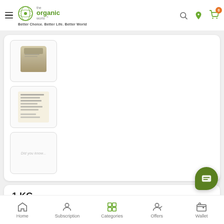the organic world™ — Better Choice. Better Life. Better World
[Figure (screenshot): E-commerce product page showing 3 product thumbnail images in a vertical list]
1 KG
Home  Subscription  Categories  Offers  Wallet